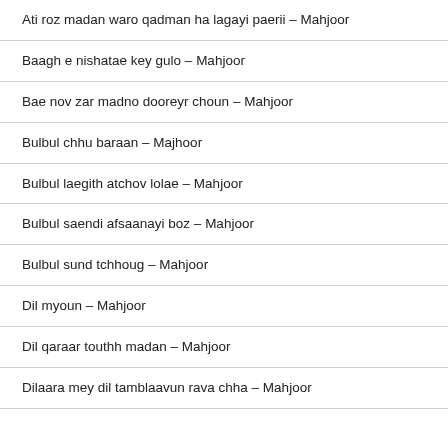Ati roz madan waro qadman ha lagayi paerii – Mahjoor
Baagh e nishatae key gulo – Mahjoor
Bae nov zar madno dooreyr choun – Mahjoor
Bulbul chhu baraan – Majhoor
Bulbul laegith atchov lolae – Mahjoor
Bulbul saendi afsaanayi boz – Mahjoor
Bulbul sund tchhoug – Mahjoor
Dil myoun – Mahjoor
Dil qaraar touthh madan – Mahjoor
Dilaara mey dil tamblaavun rava chha – Mahjoor